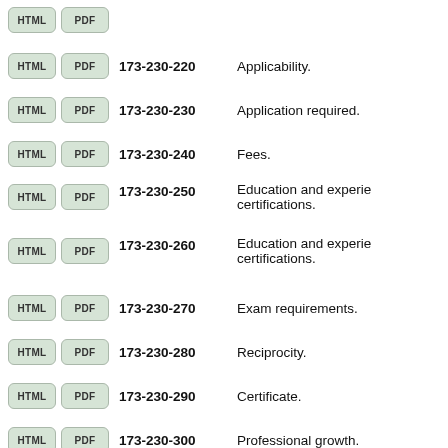HTML PDF 173-230-220 Applicability.
HTML PDF 173-230-230 Application required.
HTML PDF 173-230-240 Fees.
HTML PDF 173-230-250 Education and experience certifications.
HTML PDF 173-230-260 Education and experience certifications.
HTML PDF 173-230-270 Exam requirements.
HTML PDF 173-230-280 Reciprocity.
HTML PDF 173-230-290 Certificate.
HTML PDF 173-230-300 Professional growth.
HTML PDF 173-230-310 Renewal requirements.